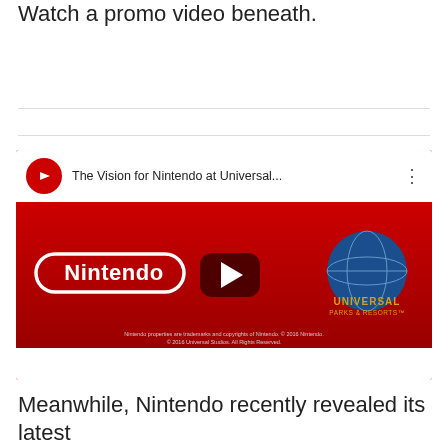Watch a promo video beneath.
[Figure (screenshot): YouTube video thumbnail showing 'The Vision for Nintendo at Universal...' with Nintendo and Universal Parks & Resorts logos on a red background, with a play button in the center.]
Meanwhile, Nintendo recently revealed its latest